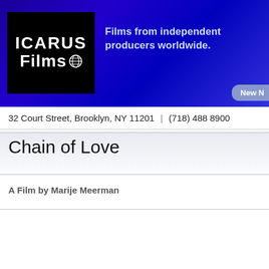[Figure (logo): Icarus Films logo — white text on black background reading ICARUS Films with a globe icon, set on a dark blue gradient banner with tagline 'Films from independent producers worldwide.']
32 Court Street, Brooklyn, NY 11201 | (718) 488 8900
Chain of Love
A Film by Marije Meerman